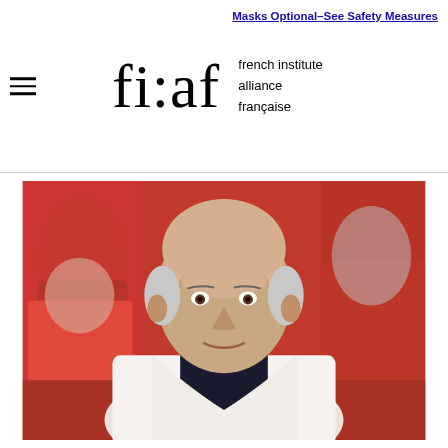Masks Optional—See Safety Measures | fi:af french institute alliance française
[Figure (photo): Portrait photo of a bald middle-aged man with white hair on sides, wearing a white jacket/scarf over a dark shirt, smiling slightly, shot against a blurred red carpet background with people in the background.]